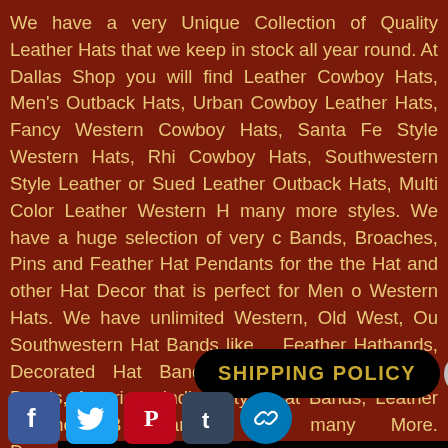We have a very Unique Collection of Quality Leather Hats that we keep in stock all year round. At Dallas Shop you will find Leather Cowboy Hats, Men's Outback Hats, Urban Cowboy Leather Hats, Fancy Western Cowboy Hats, Santa Fe Style Western Hats, Rhi Cowboy Hats, Southwestern Style Leather or Sued Leather Outback Hats, Multi Color Leather Western H many more styles. We have a huge selection of very c Bands, Broaches, Pins and Feather Hat Pendants for the the Hat and other Hat Decor that is perfect for Men o Western Hats. We have unlimited Western, Old West, Ou Southwestern Hat Bands like Feather Hatbands, Decorated Hat Bands, Southwestern Bone & Beads, American Indian Style Hat Bands, Leather Concho B Bands and many More. Dress... style.
[Figure (other): Shipping Policy button overlay (black pill-shaped button with gold text 'SHIPPING POLICY' and a right-arrow circle)]
[Figure (other): Social media icons row: Facebook, Twitter, Pinterest, Tumblr, LinkedIn]